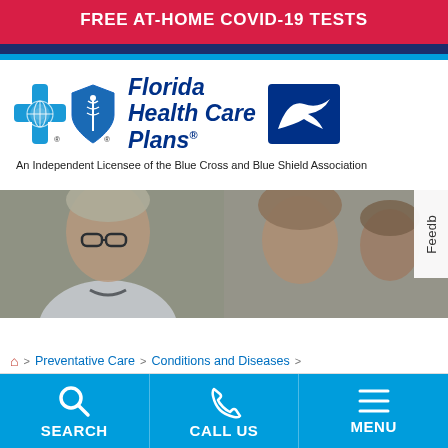FREE AT-HOME COVID-19 TESTS
[Figure (logo): Florida Health Care Plans logo with Blue Cross Blue Shield icons and a seabird logo. Text: 'Florida Health Care Plans®'. Subtitle: 'An Independent Licensee of the Blue Cross and Blue Shield Association']
[Figure (photo): Photo of a female doctor with glasses and stethoscope consulting with patients (a woman and a man). A 'Feedb' (Feedback) tab is visible on the right edge.]
🏠 > Preventative Care > Conditions and Diseases >
[Figure (infographic): Bottom navigation bar with three items: SEARCH (magnifying glass icon), CALL US (phone icon), MENU (hamburger icon). Blue background with white icons and white bold text.]